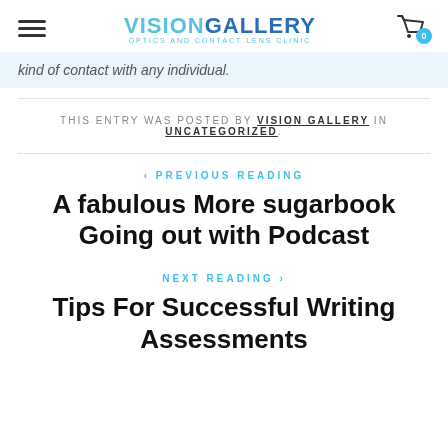VISIONGALLERY - Optics and Contact Lens Clinic
kind of contact with any individual.
THIS ENTRY WAS POSTED BY VISION GALLERY IN UNCATEGORIZED.
< PREVIOUS READING
A fabulous More sugarbook Going out with Podcast
NEXT READING >
Tips For Successful Writing Assessments